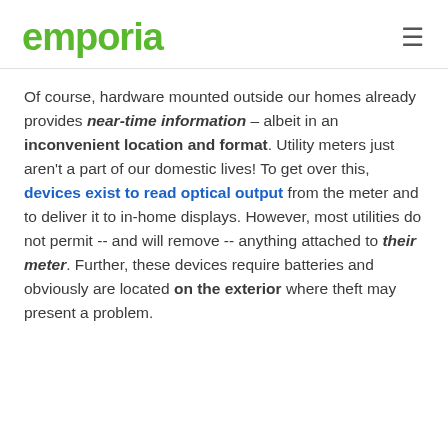emporia
Of course, hardware mounted outside our homes already provides near-time information – albeit in an inconvenient location and format.  Utility meters just aren't a part of our domestic lives!  To get over this, devices exist to read optical output from the meter and to deliver it to in-home displays.  However, most utilities do not permit -- and will remove -- anything attached to their meter.  Further, these devices require batteries and obviously are located on the exterior where theft may present a problem.